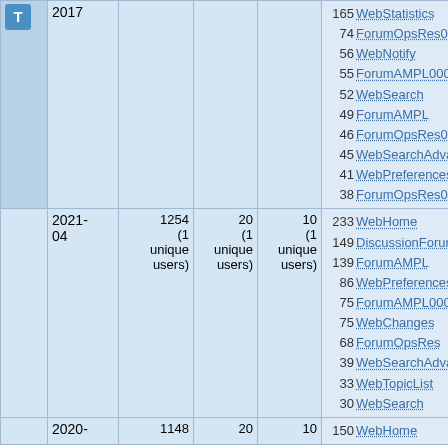|  | Year | Views | Saves | Contrib. | Top pages |
| --- | --- | --- | --- | --- | --- |
| T | 2017 |  |  |  | 165 WebStatistics
74 ForumOpsRes0004
56 WebNotify
55 ForumAMPL0002
52 WebSearch
49 ForumAMPL
46 ForumOpsRes0005
45 WebSearchAdvanced
41 WebPreferences
38 ForumOpsRes0002 |
|  | 2021-04 | 1254 (1 unique users) | 20 (1 unique users) | 10 (1 unique users) | 233 WebHome
149 DiscussionForum
139 ForumAMPL
86 WebPreferences
75 ForumAMPL0002
75 WebChanges
68 ForumOpsRes
39 WebSearchAdvanced
33 WebTopicList
30 WebSearch |
|  | 2020- | 1148 | 20 | 10 | 150 WebHome |